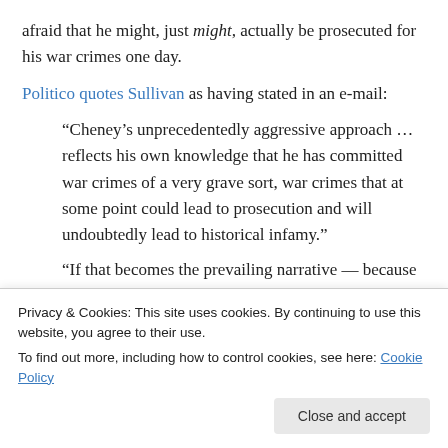afraid that he might, just might, actually be prosecuted for his war crimes one day.
Politico quotes Sullivan as having stated in an e-mail:
“Cheney’s unprecedentedly aggressive approach … reflects his own knowledge that he has committed war crimes of a very grave sort, war crimes that at some point could lead to prosecution and will undoubtedly lead to historical infamy.”
“If that becomes the prevailing narrative — because it
Privacy & Cookies: This site uses cookies. By continuing to use this website, you agree to their use.
To find out more, including how to control cookies, see here: Cookie Policy
and launch this kind of PR campaign to throw